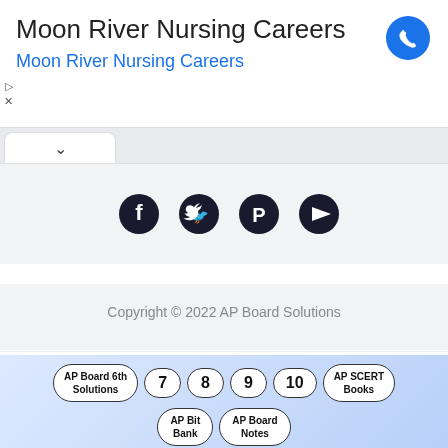[Figure (screenshot): Advertisement banner for Moon River Nursing Careers with phone icon, showing title 'Moon River Nursing Careers' in dark text and subtitle 'Moon River Nursing Careers' in blue]
[Figure (screenshot): Browser tab bar with up chevron tab and gray background]
[Figure (screenshot): Social media icons row: Facebook, Twitter, Pinterest, YouTube in dark circles on gray background]
Copyright © 2022 AP Board Solutions
[Figure (screenshot): Advertisement for K-12 High-Dosage Tutoring by Littera Education with ad indicator and litteraeducation.com URL]
[Figure (screenshot): Navigation bubble row with AP Board 6th Solutions, 7, 8, 9, 10, AP SCERT Books, AP Bit Bank, AP Board Notes bubbles on blue gradient background]